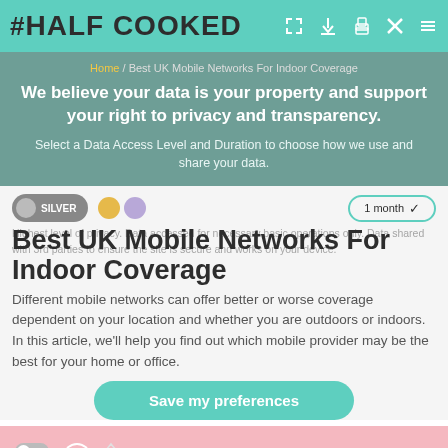HALF COOKED
We believe your data is your property and support your right to privacy and transparency. Select a Data Access Level and Duration to choose how we use and share your data.
Best UK Mobile Networks For Indoor Coverage
Different mobile networks can offer better or worse coverage dependent on your location and whether you are outdoors or indoors. In this article, we'll help you find out which mobile provider may be the best for your home or office.
Save my preferences
Best UK Mobile Networks For Indoor Coverage